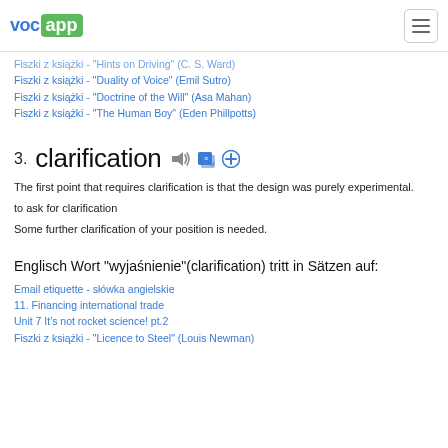VOC APP
Fiszki z książki - "Hints on Driving" (C. S. Ward)
Fiszki z książki - "Duality of Voice" (Emil Sutro)
Fiszki z książki - "Doctrine of the Will" (Asa Mahan)
Fiszki z książki - "The Human Boy" (Eden Phillpotts)
3. clarification
The first point that requires clarification is that the design was purely experimental.
to ask for clarification
Some further clarification of your position is needed.
Englisch Wort "wyjaśnienie"(clarification) tritt in Sätzen auf:
Email etiquette - słówka angielskie
11. Financing international trade
Unit 7 It's not rocket science! pt.2
Fiszki z książki - "Licence to Steel" (Louis Newman)